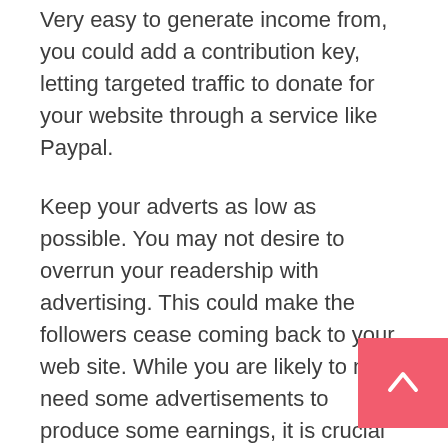Very easy to generate income from, you could add a contribution key, letting targeted traffic to donate for your website through a service like Paypal.
Keep your adverts as low as possible. You may not desire to overrun your readership with advertising. This could make the followers cease coming back to your web site. While you are likely to might need some advertisements to produce some earnings, it is crucial that you may not over get it done.
Blogging is literally an online sensation. The typical enthusiasm for many blog owners is usually to connect information to a audience. Take advantage of the information from the bit you have just study to assist you create your